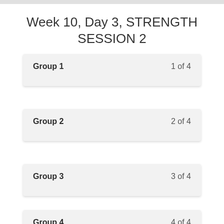Week 10, Day 3, STRENGTH SESSION 2
Group 1   1 of 4
Group 2   2 of 4
Group 3   3 of 4
Group 4   4 of 4